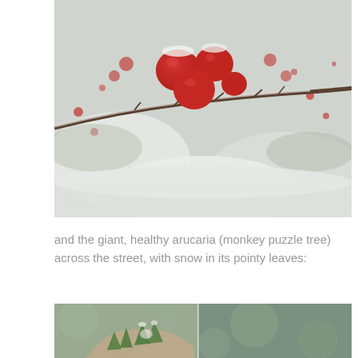[Figure (photo): Close-up photograph of bright red berries on a snow-covered branch. The berries are vivid red/crimson against a wintry grey-white background of snow and frosted foliage.]
and the giant, healthy arucaria (monkey puzzle tree) across the street, with snow in its pointy leaves:
[Figure (photo): Photograph of an araucaria (monkey puzzle tree) branch with distinctive pointed green leaves dusted with snow, set against a blurred bokeh background.]